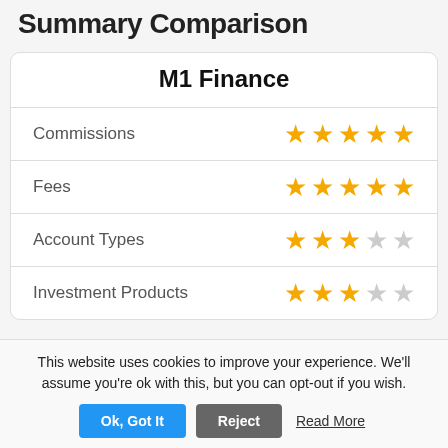Summary Comparison
M1 Finance
| Category | Rating |
| --- | --- |
| Commissions | 5 stars |
| Fees | 5 stars |
| Account Types | 3 stars |
| Investment Products | 3 stars |
This website uses cookies to improve your experience. We'll assume you're ok with this, but you can opt-out if you wish.
Ok, Got It  Reject  Read More